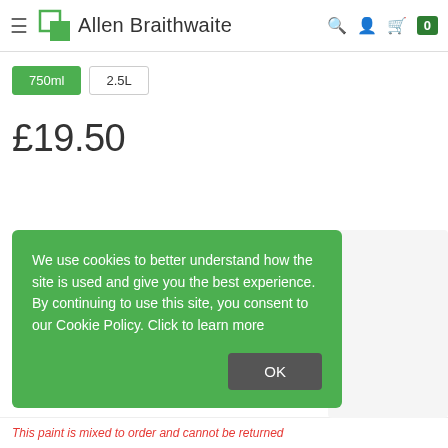Allen Braithwaite
750ml
2.5L
£19.50
We use cookies to better understand how the site is used and give you the best experience. By continuing to use this site, you consent to our Cookie Policy. Click to learn more
OK
This paint is mixed to order and cannot be returned